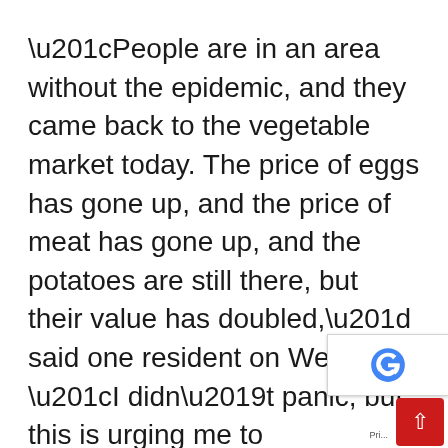“People are in an area without the epidemic, and they came back to the vegetable market today. The price of eggs has gone up, and the price of meat has gone up, and the potatoes are still there, but their value has doubled,” said one resident on Weibo. “I didn’t panic, but this is urging me to panic.”
Authorities have ordered mass testing of more than 20 million people across Beijing and suspended all weddings, funerals and banquets as they seek to head off a growing outbreak. On Thursday the reported 50 new cases. Authorities locked dow some individual residential buildings, office blocks